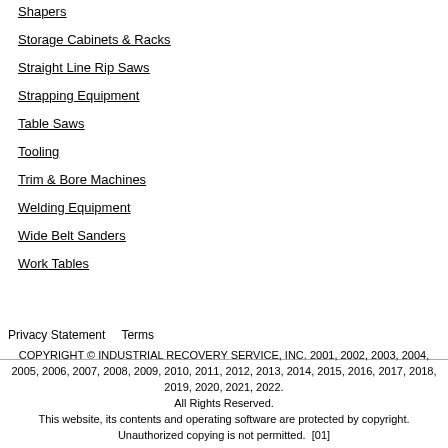Shapers
Storage Cabinets & Racks
Straight Line Rip Saws
Strapping Equipment
Table Saws
Tooling
Trim & Bore Machines
Welding Equipment
Wide Belt Sanders
Work Tables
Privacy Statement   Terms

COPYRIGHT © INDUSTRIAL RECOVERY SERVICE, INC. 2001, 2002, 2003, 2004, 2005, 2006, 2007, 2008, 2009, 2010, 2011, 2012, 2013, 2014, 2015, 2016, 2017, 2018, 2019, 2020, 2021, 2022.
All Rights Reserved.
This website, its contents and operating software are protected by copyright. Unauthorized copying is not permitted.  [01]